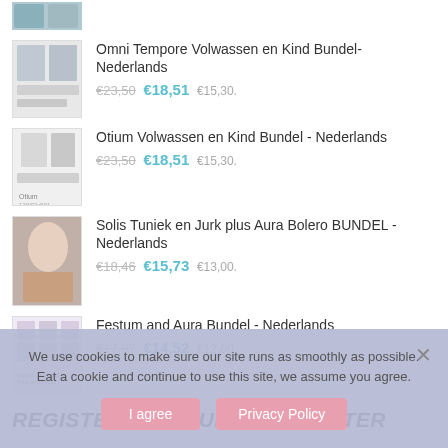[Figure (photo): Partial product thumbnail at top, cut off]
Omni Tempore Volwassen en Kind Bundel- Nederlands
€23,50 €18,51 €15,30.
Otium Volwassen en Kind Bundel - Nederlands
€23,50 €18,51 €15,30.
Solis Tuniek en Jurk plus Aura Bolero BUNDEL - Nederlands
€18,46 €15,73 €13,00.
Festum and Aura Bundel - Nederlands
€17,97 €14,52 €12,00.
REGISTER FOR OUR NEWSLETTER
We use cookies to make sure our site runs as smoothly as possible. Eat a cookie and continue to use this site, we assume you agree.
I agree   Privacy Policy